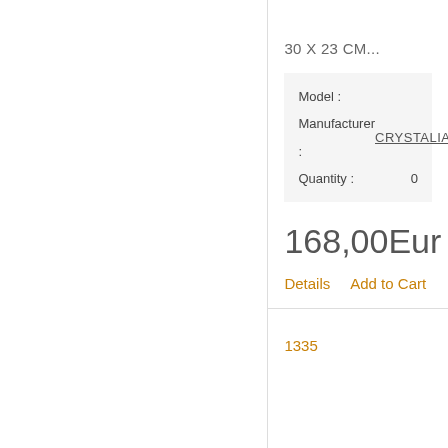30 X 23 CM...
| Model : |  |
| Manufacturer : | CRYSTALIA |
| Quantity : | 0 |
168,00Eur
Details    Add to Cart
1335